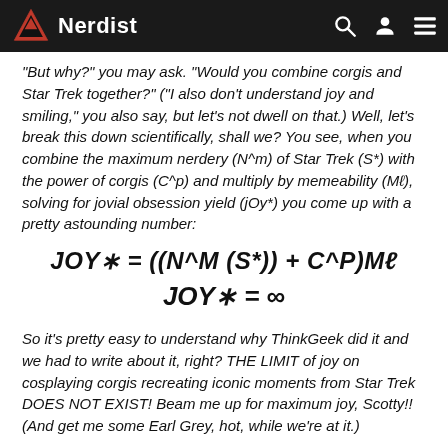Nerdist
"But why?" you may ask. "Would you combine corgis and Star Trek together?" ("I also don't understand joy and smiling," you also say, but let's not dwell on that.) Well, let's break this down scientifically, shall we? You see, when you combine the maximum nerdery (N^m) of Star Trek (S*) with the power of corgis (C^p) and multiply by memeability (Mℓ), solving for jovial obsession yield (jOy*) you come up with a pretty astounding number:
So it's pretty easy to understand why ThinkGeek did it and we had to write about it, right? THE LIMIT of joy on cosplaying corgis recreating iconic moments from Star Trek DOES NOT EXIST! Beam me up for maximum joy, Scotty!! (And get me some Earl Grey, hot, while we're at it.)
What do you think of this incredible work of narrative art? Are these dogs the best dogs in all of space? Do they deserve